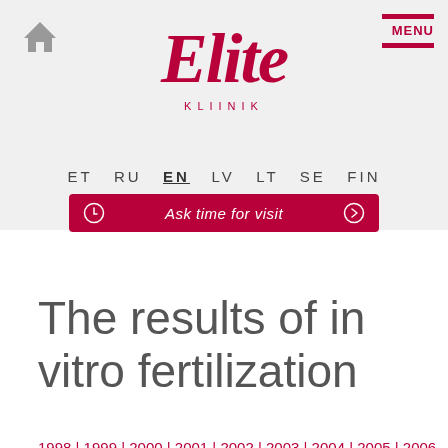[Figure (logo): Elite Kliinik logo in dark red/crimson script with KLIINIK text below]
ET  RU  EN  LV  LT  SE  FIN
Ask time for visit
The results of in vitro fertilization
1998 | 1999 | 2000 | 2001 | 2002 | 2003 | 2004 | 2005 | 2006 | 2007 | 2008 | 2009
2010 | 2011 | 2012 | 2013 | 2014 | 2015 | 2016 | 2017 | 2018 | 2019 |